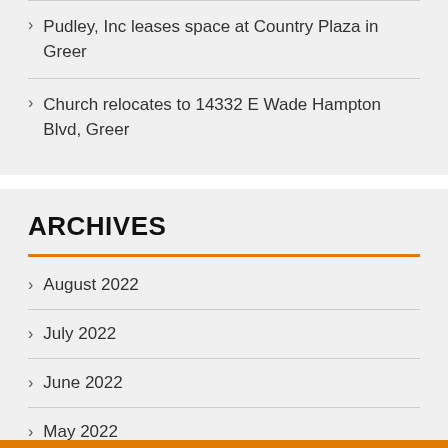Pudley, Inc leases space at Country Plaza in Greer
Church relocates to 14332 E Wade Hampton Blvd, Greer
ARCHIVES
August 2022
July 2022
June 2022
May 2022